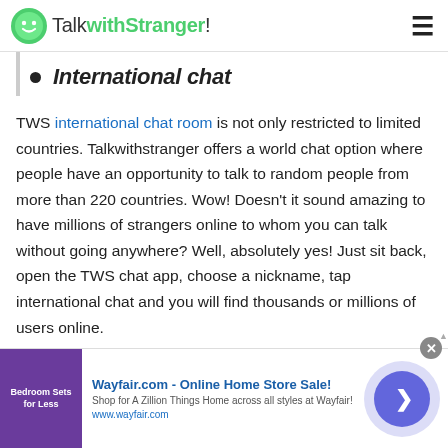TalkwithStranger!
International chat
TWS international chat room is not only restricted to limited countries. Talkwithstranger offers a world chat option where people have an opportunity to talk to random people from more than 220 countries. Wow! Doesn't it sound amazing to have millions of strangers online to whom you can talk without going anywhere? Well, absolutely yes! Just sit back, open the TWS chat app, choose a nickname, tap international chat and you will find thousands or millions of users online.
[Figure (screenshot): Wayfair.com advertisement banner with purple bedroom image, title 'Wayfair.com - Online Home Store Sale!', description text, URL, and navigation button]